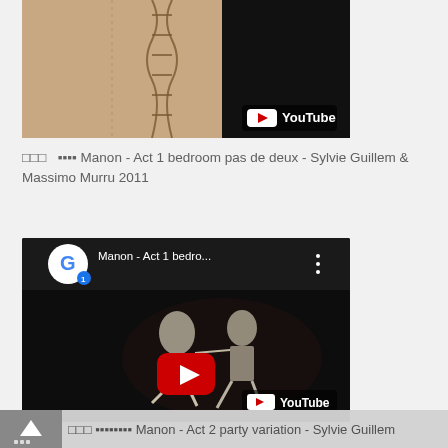[Figure (screenshot): YouTube video thumbnail showing ballet costume fabric detail with YouTube badge]
□□□  🔲🔲🔲🔲 Manon - Act 1 bedroom pas de deux - Sylvie Guillem & Massimo Murru 2011
[Figure (screenshot): Embedded YouTube video player titled 'Manon - Act 1 bedro...' with G channel icon, three-dot menu, ballet dancers on dark stage, red play button, and YouTube badge]
□□□  🔲🔲🔲🔲🔲🔲🔲🔲 Manon - Act 2 party variation - Sylvie Guillem